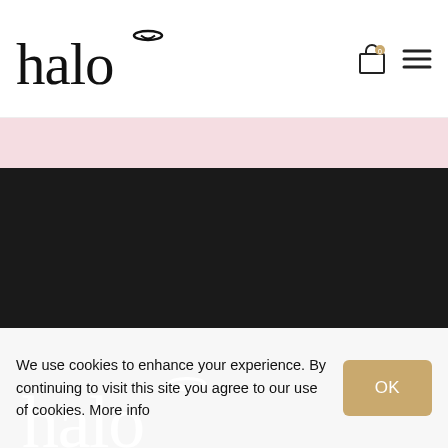[Figure (logo): Halo hair extensions logo in black — stylized lowercase 'halo' with angel halo ring above the 'o']
[Figure (logo): Halo hair extensions logo in white on dark background — stylized lowercase 'halo' with angel halo ring above the 'o']
Halo Hair Extensions are the leading retailer and wholesaler of the Halo, the Deluxe Halo, Premium Halo and VIP Halo, and Syn Hair in the UK.
Useful Links
We use cookies to enhance your experience. By continuing to visit this site you agree to our use of cookies. More info